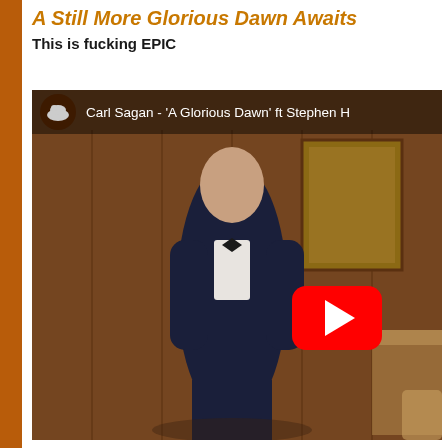A Still More Glorious Dawn Awaits
This is fucking EPIC
[Figure (screenshot): YouTube video thumbnail showing a man in a dark suit and bow tie standing in a wood-paneled room. The video title reads 'Carl Sagan - A Glorious Dawn ft Stephen' with a YouTube channel icon in the top-left and a red YouTube play button in the center-right.]